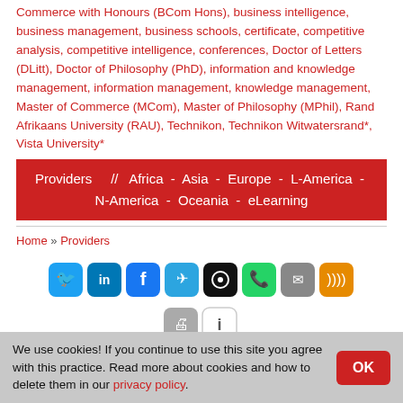Commerce with Honours (BCom Hons), business intelligence, business management, business schools, certificate, competitive analysis, competitive intelligence, conferences, Doctor of Letters (DLitt), Doctor of Philosophy (PhD), information and knowledge management, information management, knowledge management, Master of Commerce (MCom), Master of Philosophy (MPhil), Rand Afrikaans University (RAU), Technikon, Technikon Witwatersrand*, Vista University*
Providers  //  Africa - Asia - Europe - L-America - N-America - Oceania - eLearning
Home » Providers
[Figure (other): Row of social sharing icon buttons: Twitter, LinkedIn, Facebook, Telegram, a black icon, WhatsApp, Email, RSS, Print, Info]
We use cookies! If you continue to use this site you agree with this practice. Read more about cookies and how to delete them in our privacy policy.